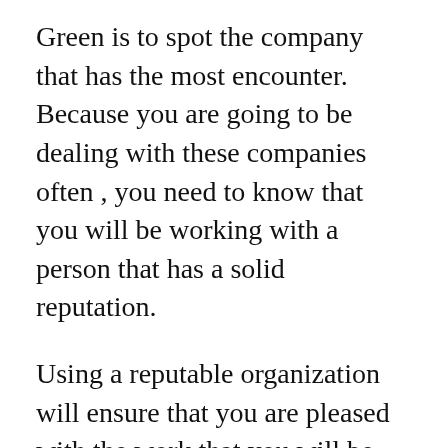Green is to spot the company that has the most encounter. Because you are going to be dealing with these companies often , you need to know that you will be working with a person that has a solid reputation.
Using a reputable organization will ensure that you are pleased with the work that you will be going to be receiving. If you are dealing with a well established plumber, it is possible to get a good service plumbers-hampstead.co.uk/ at the right price.
You should also take advantage of the fact that these experts have the ability to work